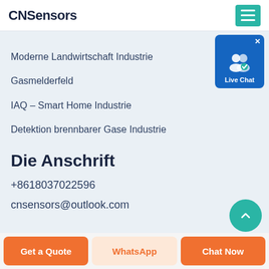CNSensors
Moderne Landwirtschaft Industrie
Gasmelderfeld
IAQ – Smart Home Industrie
Detektion brennbarer Gase Industrie
Die Anschrift
+8618037022596
cnsensors@outlook.com
[Figure (other): Live Chat widget button with user icon and teal circle scroll-to-top button]
Get a Quote
WhatsApp
Chat Now